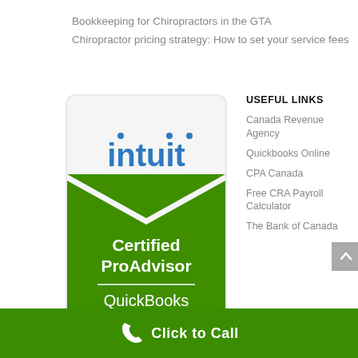Bookkeeping for Chiropractors in the GTA
Chiropractor pricing strategy: How to set your service fees
[Figure (logo): Intuit QuickBooks Certified ProAdvisor badge — white top with Intuit logo in blue, green chevron/ribbon below with 'Certified ProAdvisor' in white bold text, horizontal white line divider, 'QuickBooks' text at bottom in white]
USEFUL LINKS
Canada Revenue Agency
Quickbooks Online
CPA Canada
Free CRA Payroll Calculator
The Bank of Canada
Click to Call